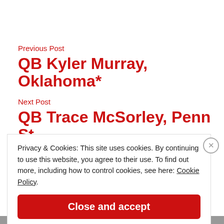Previous Post
QB Kyler Murray, Oklahoma*
Next Post
QB Trace McSorley, Penn St.
Privacy & Cookies: This site uses cookies. By continuing to use this website, you agree to their use. To find out more, including how to control cookies, see here: Cookie Policy
Close and accept